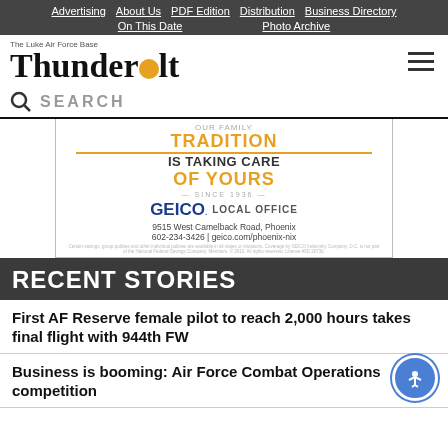Advertising | About Us | PDF Edition | Distribution | Business Directory | On This Date | Photo Archive
The Luke Air Force Base Thunderbolt
SEARCH
[Figure (other): GEICO local office advertisement: OUR FAMILY TRADITION IS TAKING CARE OF YOURS SINCE 1936. GEICO LOCAL OFFICE. 9515 West Camelback Road, Phoenix. 602-234-3426 | geico.com/phoenix-nix]
RECENT STORIES
First AF Reserve female pilot to reach 2,000 hours takes final flight with 944th FW
Business is booming: Air Force Combat Operations competition